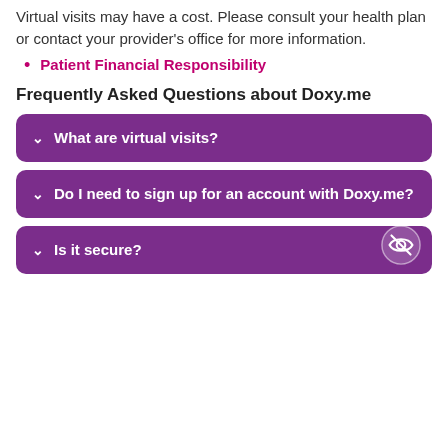Virtual visits may have a cost. Please consult your health plan or contact your provider’s office for more information.
Patient Financial Responsibility
Frequently Asked Questions about Doxy.me
What are virtual visits?
Do I need to sign up for an account with Doxy.me?
Is it secure?